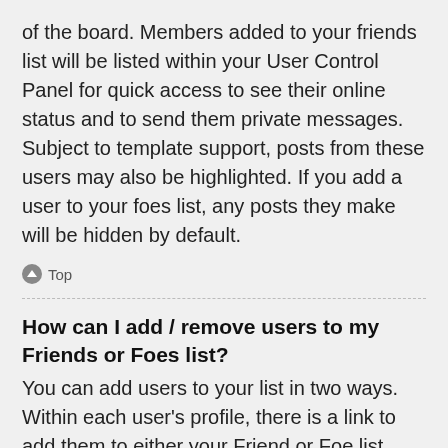of the board. Members added to your friends list will be listed within your User Control Panel for quick access to see their online status and to send them private messages. Subject to template support, posts from these users may also be highlighted. If you add a user to your foes list, any posts they make will be hidden by default.
Top
How can I add / remove users to my Friends or Foes list?
You can add users to your list in two ways. Within each user's profile, there is a link to add them to either your Friend or Foe list. Alternatively, from your User Control Panel, you can directly add users by entering their member name. You may